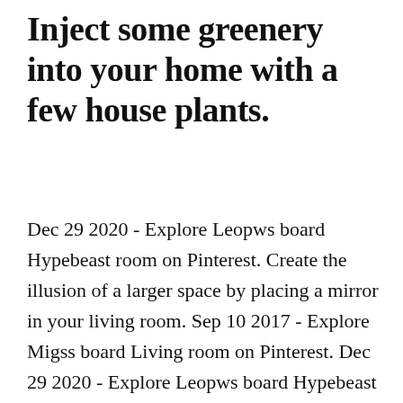Inject some greenery into your home with a few house plants.
Dec 29 2020 - Explore Leopws board Hypebeast room on Pinterest. Create the illusion of a larger space by placing a mirror in your living room. Sep 10 2017 - Explore Migss board Living room on Pinterest. Dec 29 2020 - Explore Leopws board Hypebeast room on Pinterest. See more ideas about hypebeast room hypebeast sneakerhead room. See more ideas about graffiti